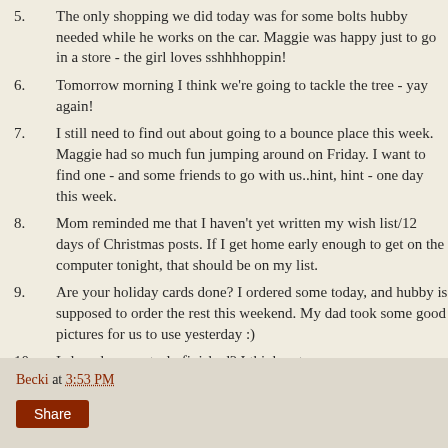5. The only shopping we did today was for some bolts hubby needed while he works on the car. Maggie was happy just to go in a store - the girl loves sshhhhoppin!
6. Tomorrow morning I think we're going to tackle the tree - yay again!
7. I still need to find out about going to a bounce place this week. Maggie had so much fun jumping around on Friday. I want to find one - and some friends to go with us..hint, hint - one day this week.
8. Mom reminded me that I haven't yet written my wish list/12 days of Christmas posts. If I get home early enough to get on the computer tonight, that should be on my list.
9. Are your holiday cards done? I ordered some today, and hubby is supposed to order the rest this weekend. My dad took some good pictures for us to use yesterday :)
10. Is laundry ever truly finished? I think not.
Becki at 3:53 PM Share